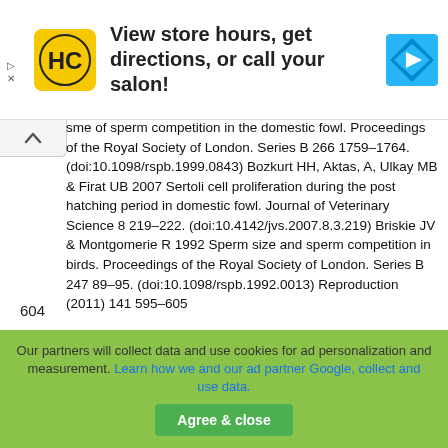[Figure (screenshot): Advertisement banner with HC (Hair Club) logo, text 'View store hours, get directions, or call your salon!', and a blue navigation arrow icon. Includes ad close controls (triangle and X).]
sme of sperm competition in the domestic fowl. Proceedings of the Royal Society of London. Series B 266 1759–1764. (doi:10.1098/rspb.1999.0843) Bozkurt HH, Aktas, A, Ulkay MB & Firat UB 2007 Sertoli cell proliferation during the post hatching period in domestic fowl. Journal of Veterinary Science 8 219–222. (doi:10.4142/jvs.2007.8.3.219) Briskie JV & Montgomerie R 1992 Sperm size and sperm competition in birds. Proceedings of the Royal Society of London. Series B 247 89–95. (doi:10.1098/rspb.1992.0013) Reproduction (2011) 141 595–605
604
S Lu¨pold and others
Our partners will collect data and use cookies for ad personalization and measurement. Learn how we and our ad partner Google, collect and use data.
Agree & close